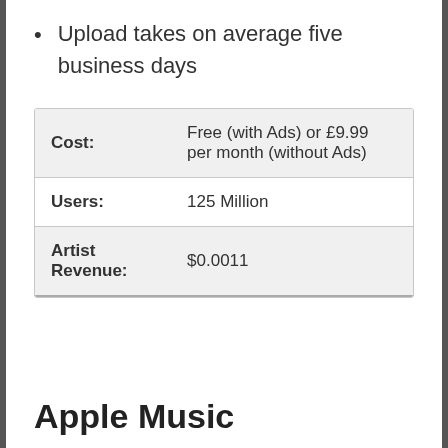Upload takes on average five business days
| Cost: | Free (with Ads) or £9.99 per month (without Ads) |
| Users: | 125 Million |
| Artist Revenue: | $0.0011 |
Apple Music